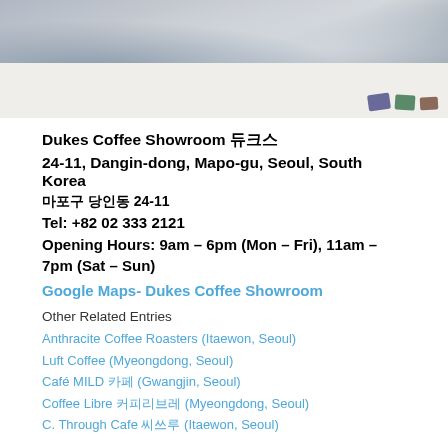[Figure (photo): Top-down photo of a cafe table with colorful items and a drink, person in background]
Dukes Coffee Showroom 듀크스
24-11, Dangin-dong, Mapo-gu, Seoul, South Korea
마포구 당인동 24-11
Tel: +82 02 333 2121
Opening Hours: 9am – 6pm (Mon – Fri), 11am – 7pm (Sat – Sun)
Google Maps- Dukes Coffee Showroom
Other Related Entries
Anthracite Coffee Roasters (Itaewon, Seoul)
Luft Coffee (Myeongdong, Seoul)
Café MILD 카페 (Gwangjin, Seoul)
Coffee Libre 커피리브레 (Myeongdong, Seoul)
C. Through Cafe 씨쓰루 (Itaewon, Seoul)